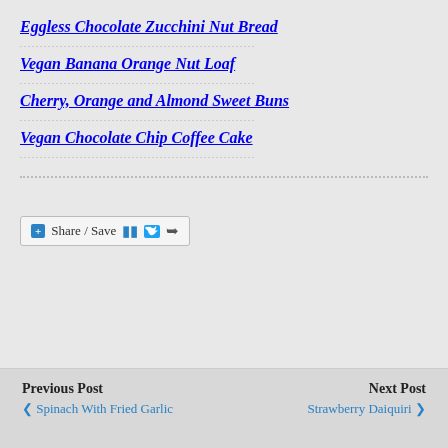Eggless Chocolate Zucchini Nut Bread
Vegan Banana Orange Nut Loaf
Cherry, Orange and Almond Sweet Buns
Vegan Chocolate Chip Coffee Cake
[Figure (other): Share / Save button with Facebook, Twitter, and export icons]
Previous Post | Spinach With Fried Garlic    Next Post | Strawberry Daiquiri